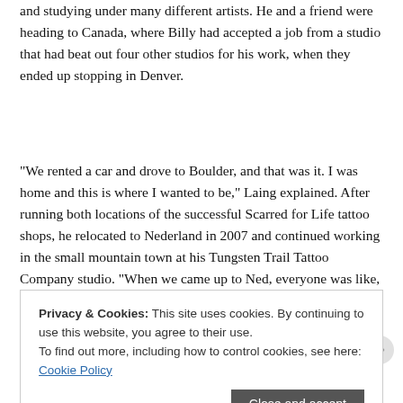and studying under many different artists. He and a friend were heading to Canada, where Billy had accepted a job from a studio that had beat out four other studios for his work, when they ended up stopping in Denver.
“We rented a car and drove to Boulder, and that was it. I was home and this is where I wanted to be,” Laing explained. After running both locations of the successful Scarred for Life tattoo shops, he relocated to Nederland in 2007 and continued working in the small mountain town at his Tungsten Trail Tattoo Company studio. “When we came up to Ned, everyone was like, ‘I don’t know how you’ll do,’ and we just blew up, we did terrific.”
Wikimedia businesses are also used to find the perfect for everyone he’s up helping out leaving the area. “People seek me out, is
Privacy & Cookies: This site uses cookies. By continuing to use this website, you agree to their use.
To find out more, including how to control cookies, see here: Cookie Policy